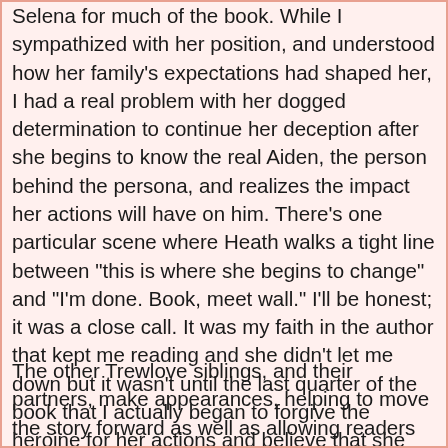Selena for much of the book. While I sympathized with her position, and understood how her family's expectations had shaped her, I had a real problem with her dogged determination to continue her deception after she begins to know the real Aiden, the person behind the persona, and realizes the impact her actions will have on him. There's one particular scene where Heath walks a tight line between "this is where she begins to change" and "I'm done. Book, meet wall." I'll be honest; it was a close call. It was my faith in the author that kept me reading and she didn't let me down but it wasn't until the last quarter of the book that I actually began to forgive the heroine for her actions and believe that she might be worthy of a happy ending with the hero.
The other Trewlove siblings, and their partners, make appearances, helping to move the story forward as well as allowing readers to catch up with their ongoing relationships. We're also given a peek into